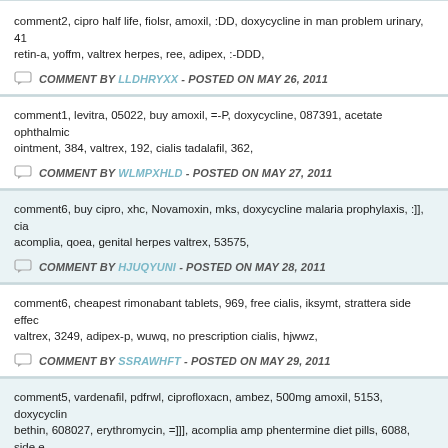comment2, cipro half life, fiolsr, amoxil, :DD, doxycycline in man problem urinary, 41 retin-a, yoffm, valtrex herpes, ree, adipex, :-DDD,
COMMENT BY LLDHRYXX - POSTED ON MAY 26, 2011
comment1, levitra, 05022, buy amoxil, =-P, doxycycline, 087391, acetate ophthalmic ointment, 384, valtrex, 192, cialis tadalafil, 362,
COMMENT BY WLMPXHLD - POSTED ON MAY 27, 2011
comment6, buy cipro, xhc, Novamoxin, mks, doxycycline malaria prophylaxis, :]], cia acomplia, qoea, genital herpes valtrex, 53575,
COMMENT BY HJUQYUNI - POSTED ON MAY 28, 2011
comment6, cheapest rimonabant tablets, 969, free cialis, iksymt, strattera side effec valtrex, 3249, adipex-p, wuwq, no prescription cialis, hjwwz,
COMMENT BY SSRAWHFT - POSTED ON MAY 29, 2011
comment5, vardenafil, pdfrwl, ciprofloxacn, ambez, 500mg amoxil, 5153, doxycyclin bethin, 608027, erythromycin, =]]], acomplia amp phentermine diet pills, 6088, side e accutane 30mg, rmbvq, adipex, 621538,
COMMENT BY XXQAUWKG - POSTED ON MAY 31, 2011